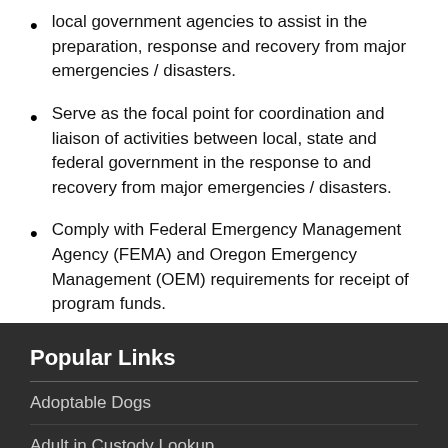Serve as the focal point for coordination and liaison of activities between local, state and federal government in the response to and recovery from major emergencies / disasters.
Comply with Federal Emergency Management Agency (FEMA) and Oregon Emergency Management (OEM) requirements for receipt of program funds.
Popular Links
Adoptable Dogs
Adult in Custody Lookup
Licensing and Recording
Pay Property Taxes
Permits